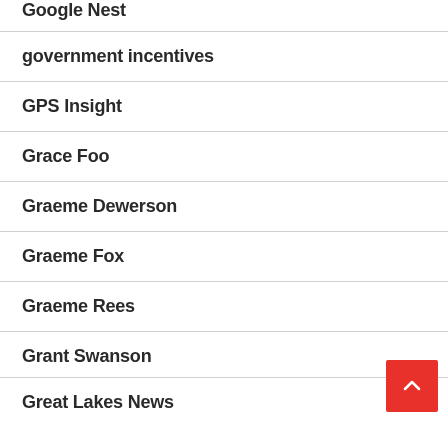Google Nest
government incentives
GPS Insight
Grace Foo
Graeme Dewerson
Graeme Fox
Graeme Rees
Grant Swanson
Great Lakes News